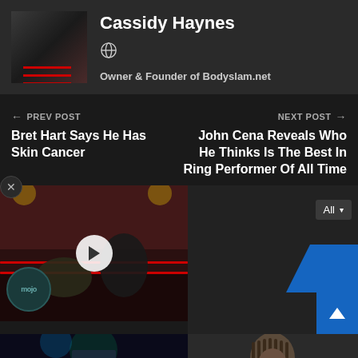Cassidy Haynes
Owner & Founder of Bodyslam.net
← PREV POST
Bret Hart Says He Has Skin Cancer
NEXT POST →
John Cena Reveals Who He Thinks Is The Best In Ring Performer Of All Time
[Figure (photo): Wrestling video thumbnail with play button overlay and WatchMojo badge]
[Figure (screenshot): All dropdown and blue shape UI element]
[Figure (photo): Bottom left thumbnail - wrestler under stage lights]
[Figure (photo): Bottom right thumbnail - person with dreadlocks]